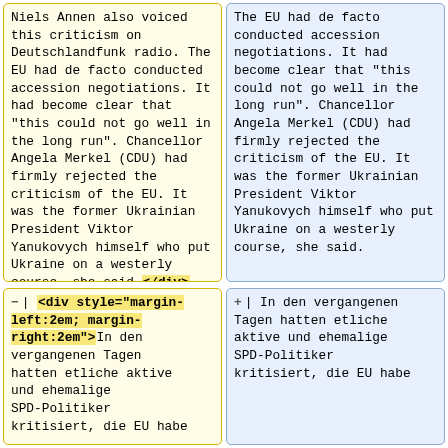Niels Annen also voiced this criticism on Deutschlandfunk radio. The EU had de facto conducted accession negotiations. It had become clear that "this could not go well in the long run". Chancellor Angela Merkel (CDU) had firmly rejected the criticism of the EU. It was the former Ukrainian President Viktor Yanukovych himself who put Ukraine on a westerly course, she said.</div>
Deutschlandfunk radio: The EU had de facto conducted accession negotiations. It had become clear that "this could not go well in the long run". Chancellor Angela Merkel (CDU) had firmly rejected the criticism of the EU. It was the former Ukrainian President Viktor Yanukovych himself who put Ukraine on a westerly course, she said.
| <div style="margin-left:2em; margin-right:2em">In den vergangenen Tagen hatten etliche aktive und ehemalige SPD-Politiker kritisiert, die EU habe
| In den vergangenen Tagen hatten etliche aktive und ehemalige SPD-Politiker kritisiert, die EU habe